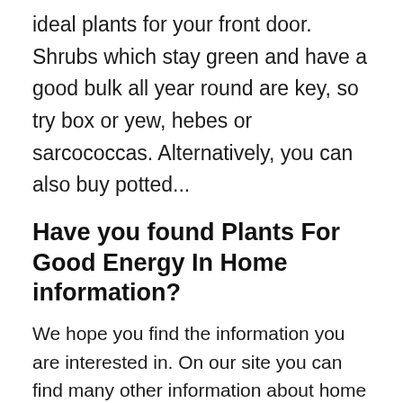ideal plants for your front door. Shrubs which stay green and have a good bulk all year round are key, so try box or yew, hebes or sarcococcas. Alternatively, you can also buy potted...
Have you found Plants For Good Energy In Home information?
We hope you find the information you are interested in. On our site you can find many other information about home goods.